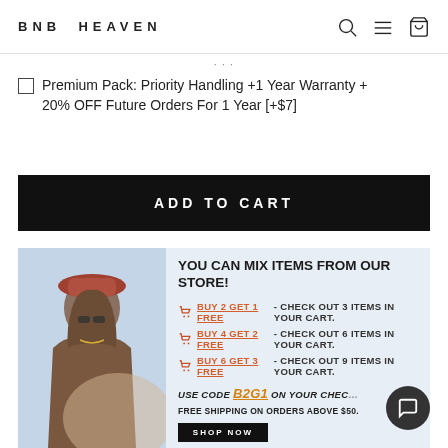BNB HEAVEN
(partial text cut off from above page)
☐ Premium Pack: Priority Handling +1 Year Warranty + 20% OFF Future Orders For 1 Year [+$7]
ADD TO CART
[Figure (infographic): Promotional banner with a photo of a woman in a hat on the left and text on the right: YOU CAN MIX ITEMS FROM OUR STORE! BUY 2 GET 1 FREE - CHECK OUT 3 ITEMS IN YOUR CART. BUY 4 GET 2 FREE - CHECK OUT 6 ITEMS IN YOUR CART. BUY 6 GET 3 FREE - CHECK OUT 9 ITEMS IN YOUR CART. USE CODE B2G1 ON YOUR CHECKOUT. FREE SHIPPING ON ORDERS ABOVE $50. SHOP NOW button.]